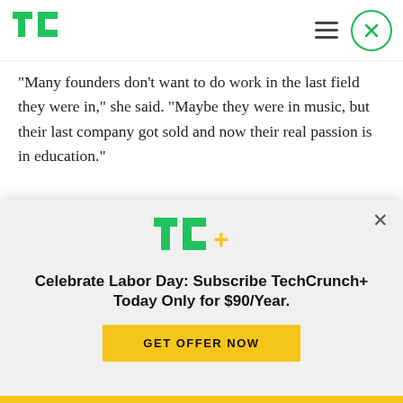TechCrunch logo, hamburger menu, close button
“Many founders don’t want to do work in the last field they were in,” she said. “Maybe they were in music, but their last company got sold and now their real passion is in education.”
FounderDating is also not for recruiting, unlike AngelList, which moved into hiring and direct
[Figure (logo): TechCrunch+ logo (TC+ in green and yellow)]
Celebrate Labor Day: Subscribe TechCrunch+ Today Only for $90/Year.
GET OFFER NOW